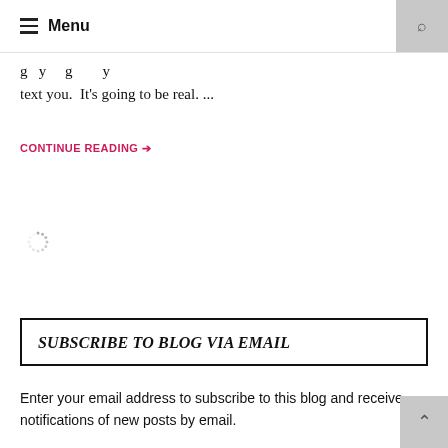Menu
g...y...g...y text you.  It's going to be real. ...
CONTINUE READING →
[Figure (other): Loading spinner icon]
SUBSCRIBE TO BLOG VIA EMAIL
Enter your email address to subscribe to this blog and receive notifications of new posts by email.